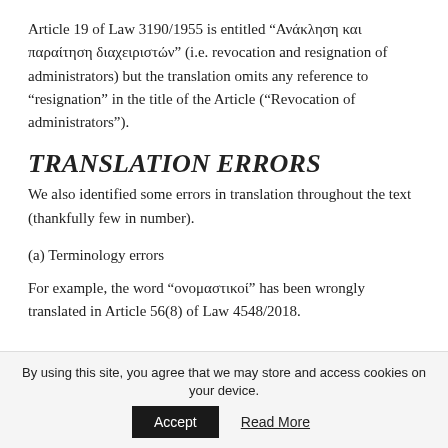Article 19 of Law 3190/1955 is entitled “Ανάκληση και παραίτηση διαχειριστών” (i.e. revocation and resignation of administrators) but the translation omits any reference to “resignation” in the title of the Article (“Revocation of administrators”).
TRANSLATION ERRORS
We also identified some errors in translation throughout the text (thankfully few in number).
(a) Terminology errors
For example, the word “ονομαστικοί” has been wrongly translated in Article 56(8) of Law 4548/2018.
By using this site, you agree that we may store and access cookies on your device.